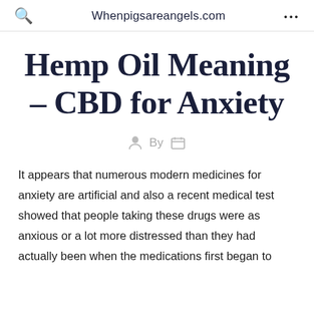Whenpigsareangels.com
Hemp Oil Meaning – CBD for Anxiety
By
It appears that numerous modern medicines for anxiety are artificial and also a recent medical test showed that people taking these drugs were as anxious or a lot more distressed than they had actually been when the medications first began to